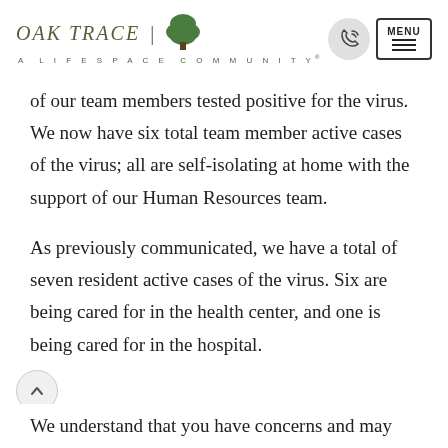Oak Trace | A Lifespace Community
of our team members tested positive for the virus. We now have six total team member active cases of the virus; all are self-isolating at home with the support of our Human Resources team.
As previously communicated, we have a total of seven resident active cases of the virus. Six are being cared for in the health center, and one is being cared for in the hospital.
We understand that you have concerns and may